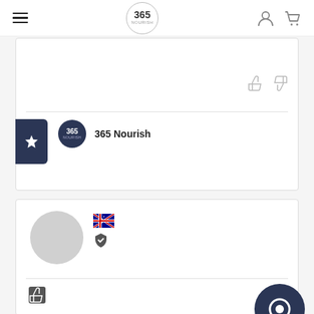365 Nourish navigation bar with hamburger menu, logo, user and cart icons
[Figure (screenshot): Review card showing thumbs up/down icons, divider, reviewer avatar with 365 logo badge and name '365 Nourish', with a favorites star badge on the left edge]
365 Nourish
[Figure (screenshot): Second review card with grey avatar circle, Australian flag icon, verified shield icon, divider, thumbs up icon, and a dark chat bubble icon in the bottom right]